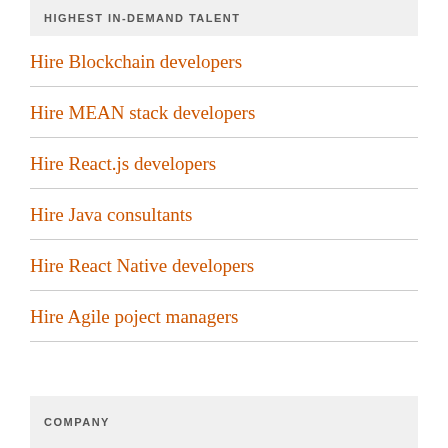HIGHEST IN-DEMAND TALENT
Hire Blockchain developers
Hire MEAN stack developers
Hire React.js developers
Hire Java consultants
Hire React Native developers
Hire Agile poject managers
COMPANY